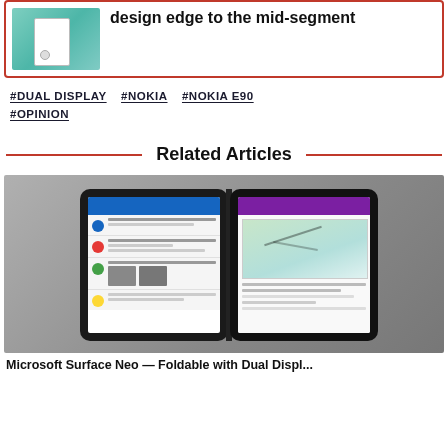[Figure (photo): Card with image of person holding a phone and bold text about design edge to mid-segment]
design edge to the mid-segment
#DUAL DISPLAY
#NOKIA
#NOKIA E90
#OPINION
Related Articles
[Figure (photo): Microsoft Surface Neo or similar dual-screen tablet device showing two apps side by side - messaging app on left with blue header, note/map app on right with purple header]
Microsoft Surface Neo — Foldable with Dual Display...